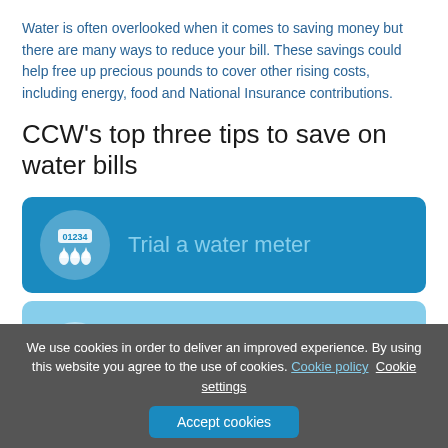Water is often overlooked when it comes to saving money but there are many ways to reduce your bill. These savings could help free up precious pounds to cover other rising costs, including energy, food and National Insurance contributions.
CCW's top three tips to save on water bills
[Figure (infographic): Blue rounded card with water meter icon (circle with '01234' display and water drops) and text 'Trial a water meter']
[Figure (infographic): Light blue rounded card with recycling/water saving icon and text 'Get smart at the art of saving water and energy']
We use cookies in order to deliver an improved experience. By using this website you agree to the use of cookies. Cookie policy Cookie settings
Accept cookies